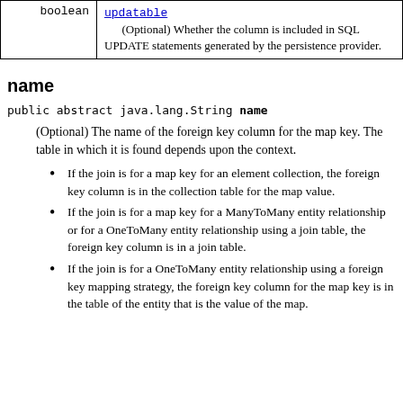| boolean | updatable |
| --- | --- |
| boolean | (Optional) Whether the column is included in SQL UPDATE statements generated by the persistence provider. |
name
public abstract java.lang.String name
(Optional) The name of the foreign key column for the map key. The table in which it is found depends upon the context.
If the join is for a map key for an element collection, the foreign key column is in the collection table for the map value.
If the join is for a map key for a ManyToMany entity relationship or for a OneToMany entity relationship using a join table, the foreign key column is in a join table.
If the join is for a OneToMany entity relationship using a foreign key mapping strategy, the foreign key column for the map key is in the table of the entity that is the value of the map.